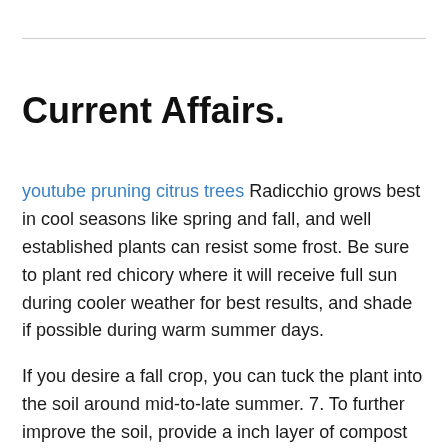Current Affairs.
youtube pruning citrus trees Radicchio grows best in cool seasons like spring and fall, and well established plants can resist some frost. Be sure to plant red chicory where it will receive full sun during cooler weather for best results, and shade if possible during warm summer days.
If you desire a fall crop, you can tuck the plant into the soil around mid-to-late summer. 7. To further improve the soil, provide a inch layer of compost or aged manure around the base of the plant, and outward where you want it to spread, for a natural source of plant food, and good medium for the bamboo to spread into.
You can control the direction of your bamboo spreading habit by providing it with rich, fertile soil. In early spring, before bud break,